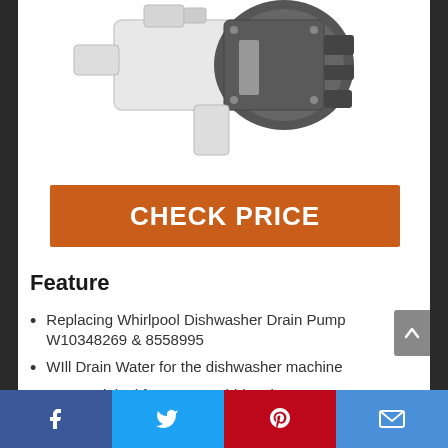[Figure (photo): Whirlpool dishwasher drain pump product photo showing white and gray plastic pump assembly]
CHECK PRICE
Feature
Replacing Whirlpool Dishwasher Drain Pump W10348269 & 8558995
WIll Drain Water for the dishwasher machine
Same original factory as Whirlpool pump W10348269 but sold directly
Facebook Twitter Pinterest Email social share bar